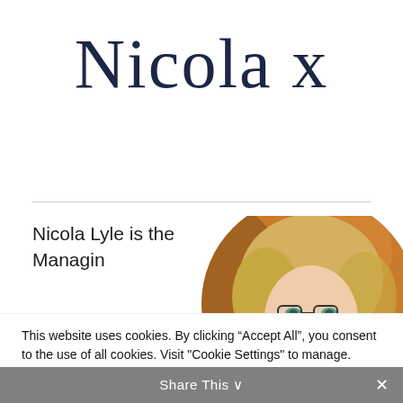Nicola x
[Figure (photo): Circular profile photo of Nicola Lyle, a blonde woman, shown from shoulders up, with a warm bokeh background.]
Nicola Lyle is the Managin
This website uses cookies. By clicking “Accept All”, you consent to the use of all cookies. Visit "Cookie Settings" to manage.
Cookie Settings
Accept All
Share This ∨  ✕